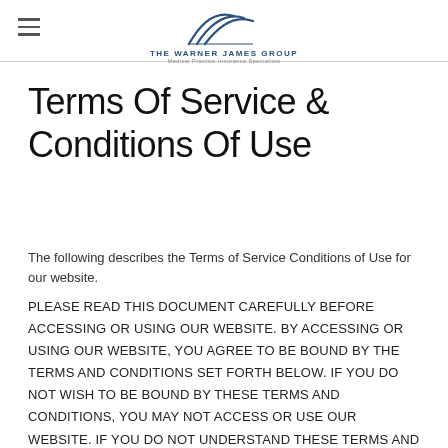THE WARNER JAMES GROUP — Medical Practice Insurance Specialists
Terms Of Service & Conditions Of Use
The following describes the Terms of Service Conditions of Use for our website.
PLEASE READ THIS DOCUMENT CAREFULLY BEFORE ACCESSING OR USING OUR WEBSITE. BY ACCESSING OR USING OUR WEBSITE, YOU AGREE TO BE BOUND BY THE TERMS AND CONDITIONS SET FORTH BELOW. IF YOU DO NOT WISH TO BE BOUND BY THESE TERMS AND CONDITIONS, YOU MAY NOT ACCESS OR USE OUR WEBSITE. IF YOU DO NOT UNDERSTAND THESE TERMS AND CONDITIONS, DO NOT USE OUR WEBSITE. WE MAY MODIFY THIS AGREEMENT AT ANY TIME WITHOUT INDIVIDUAL, SPECIFIC NOTICE TO